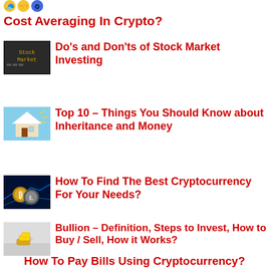[Figure (illustration): Top icons/emojis (partial, cropped at top)]
Cost Averaging In Crypto?
[Figure (photo): Stock Market typewriter image]
Do's and Don'ts of Stock Market Investing
[Figure (photo): House with sunlight image]
Top 10 – Things You Should Know about Inheritance and Money
[Figure (photo): Cryptocurrency coins image]
How To Find The Best Cryptocurrency For Your Needs?
[Figure (photo): Gold bullion bars image]
Bullion – Definition, Steps to Invest, How to Buy / Sell, How it Works?
How To Pay Bills Using Cryptocurrency?